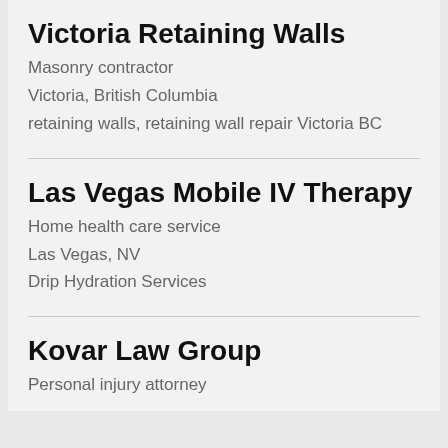Victoria Retaining Walls
Masonry contractor
Victoria, British Columbia
retaining walls, retaining wall repair Victoria BC
Las Vegas Mobile IV Therapy
Home health care service
Las Vegas, NV
Drip Hydration Services
Kovar Law Group
Personal injury attorney